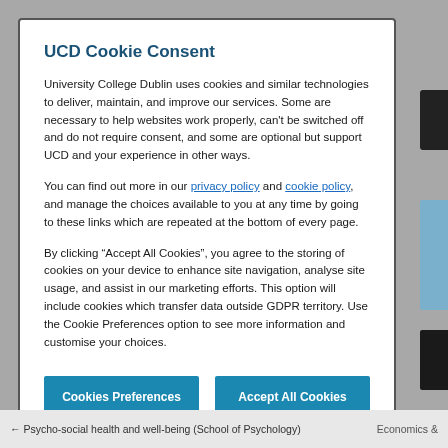UCD Cookie Consent
University College Dublin uses cookies and similar technologies to deliver, maintain, and improve our services. Some are necessary to help websites work properly, can't be switched off and do not require consent, and some are optional but support UCD and your experience in other ways.
You can find out more in our privacy policy and cookie policy, and manage the choices available to you at any time by going to these links which are repeated at the bottom of every page.
By clicking “Accept All Cookies”, you agree to the storing of cookies on your device to enhance site navigation, analyse site usage, and assist in our marketing efforts. This option will include cookies which transfer data outside GDPR territory. Use the Cookie Preferences option to see more information and customise your choices.
Cookies Preferences
Accept All Cookies
← Psycho-social health and well-being (School of Psychology)    Economics &